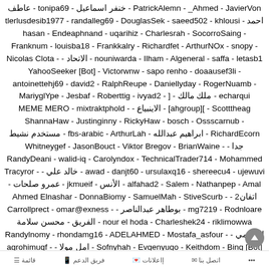عاطف - tonipa69 - خنفر اسماعيل - PatrickAlemn - _Ahmed - JavierVon tlerlusdesib1977 - randalleg69 - DouglasSek - saeed502 - khlousi - احمد hasan - Endeaphnand - uqarihiz - Charlesrah - SocorroSaing - Franknum - louisba18 - Frankkalry - Richardfet - ArthurNOx - snopy - Nicolas Clota - - الاتحاد - nouniwarda - Ilham - Algeneral - saffa - letasb1 YahooSeeker [Bot] - Victorwnw - sapo renho - doaausef3li - antoinettehj69 - david2 - RalphReupe - Daniellyday - RogerNuamb - MariyglYpe - Jesbaf - Roberttig - ivyad2 - ] - ملك مالك - echarqui MEME MERO - mixtraktphold - - الاينبياع - [ahgroup][ - Scotttheag ShannaHaw - Justinginny - RickyHaw - bosch - Ossscarnub - مستخدم نشيط - fbs-arabic - ArthurLah - ابراهيم عبدالله - RichardEcorn Whitneygef - JasonBouct - Viktor Bregov - BrianWaine - - جدا RandyDeani - walid-iq - Carolyndox - TechnicalTrader714 - Mohammed Tracyror - - خالد علي - awad - danjt60 - ursulaxq16 - shereecu4 - ujewuvi - عمرو صلحات - jkmueif - الأنس - alfahad2 - Salem - Nathanpep - Amal Ahmed Elnashar - DonnaBiomy - SamuelMah - StiveScurb - - اتفان2 Carrollprect - omar@exness - - بوطاهر عبدالناصر - mg7219 - Rodnloare الفريق - محسن سلامة - nour el hoda - Charleshek24 - riklimowwa Randylnomy - rhondamg16 - ADELAHMED - Mostafa_asfour - - التعليمي agrohimugf - - امل مولا - Sofnyhah - Evgenyugo - Keithdom - Bing [Bot] HarveyPes - - شريفان - منى حسن - Ahmed abo elfetoh - DamonVew Shadi - Darreinvoky - Albrigi2020Het - alfa - Ronaldmug - ivany3 - basem - فاطمه المنتهي - Farj44022 - tarekhadad - SimsBok Dallas321ted - forexvictim - esammahmoud - - امل - almohammed norahelmy - irissv1 - furnitureBok - Josephdog - Terrymow - ukunerlox
قائمة  اتصل بنا  إاعلانات  فريق الدعم  ...